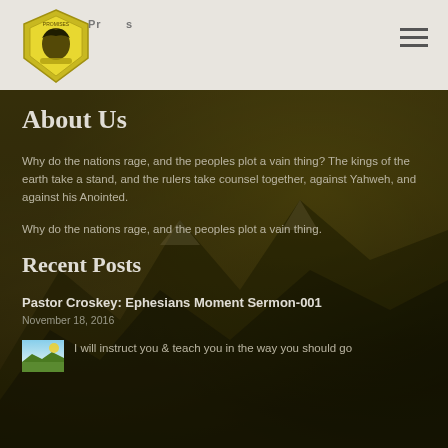Promises (logo/site name) with hamburger menu icon
About Us
Why do the nations rage, and the peoples plot a vain thing? The kings of the earth take a stand, and the rulers take counsel together, against Yahweh, and against his Anointed.
Why do the nations rage, and the peoples plot a vain thing.
Recent Posts
Pastor Croskey: Ephesians Moment Sermon-001
November 18, 2016
I will instruct you & teach you in the way you should go